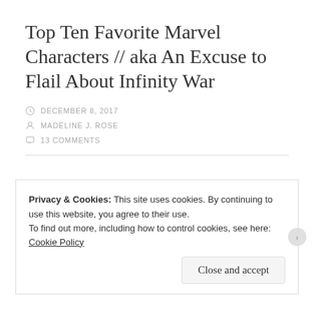Top Ten Favorite Marvel Characters // aka An Excuse to Flail About Infinity War
DECEMBER 8, 2017
MADELINE J. ROSE
13 COMMENTS
Privacy & Cookies: This site uses cookies. By continuing to use this website, you agree to their use.
To find out more, including how to control cookies, see here: Cookie Policy
Close and accept